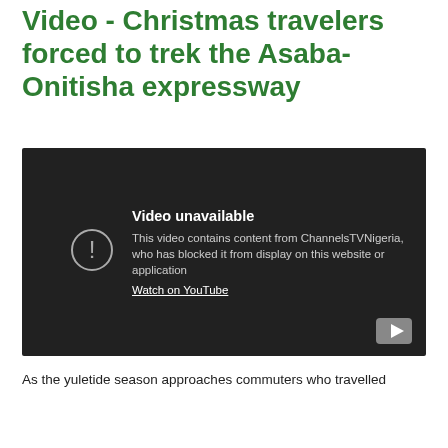Video - Christmas travelers forced to trek the Asaba-Onitisha expressway
[Figure (screenshot): Embedded YouTube video player showing 'Video unavailable' message. Text reads: 'Video unavailable. This video contains content from ChannelsTVNigeria, who has blocked it from display on this website or application. Watch on YouTube.']
As the yuletide season approaches commuters who travelled